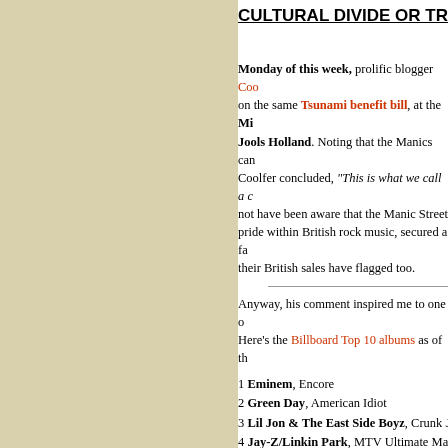[Figure (other): Beige/tan colored left panel background]
CULTURAL DIVIDE OR TRANSA
Monday of this week, prolific blogger Coo on the same Tsunami benefit bill, at the Mi Jools Holland. Noting that the Manics can Coolfer concluded, "This is what we call a c not have been aware that the Manic Street pride within British rock music, secured a fa their British sales have flagged too.
Anyway, his comment inspired me to one o Here's the Billboard Top 10 albums as of th
1 Eminem, Encore
2 Green Day, American Idiot
3 Lil Jon & The East Side Boyz, Crunk Ju
4 Jay-Z/Linkin Park, MTV Ultimate Mash-
5 Ludacris, The Red Light District
6 Usher, Confessions
7 John Legend, Get Lifted
8 2Pac, Loyal To The Game
9 Various Artists, Now 17
10 Destiny's Child, Destiny Fulfilled
And here's the British